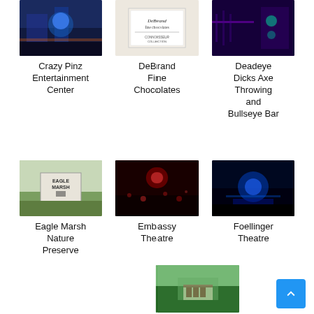[Figure (photo): Crazy Pinz Entertainment Center - dark blue bowling/entertainment venue interior]
Crazy Pinz Entertainment Center
[Figure (photo): DeBrand Fine Chocolates - white box with DeBrand logo and Connoisseur Collection text]
DeBrand Fine Chocolates
[Figure (photo): Deadeye Dicks Axe Throwing and Bullseye Bar - dark purple neon lit venue]
Deadeye Dicks Axe Throwing and Bullseye Bar
[Figure (photo): Eagle Marsh Nature Preserve - sign in field]
Eagle Marsh Nature Preserve
[Figure (photo): Embassy Theatre - dark concert crowd scene with red lighting]
Embassy Theatre
[Figure (photo): Foellinger Theatre - blue lit outdoor stage at night]
Foellinger Theatre
[Figure (photo): Foellinger-Friemann botanical conservatory greenhouse interior]
Foellinger-Friemann